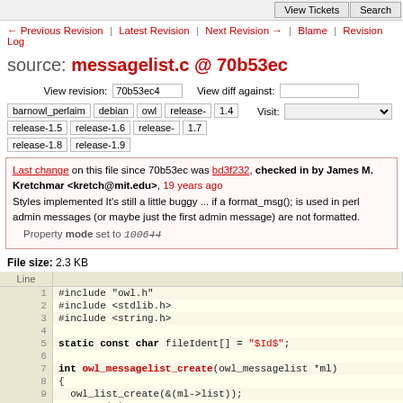View Tickets | Search
← Previous Revision | Latest Revision | Next Revision → | Blame | Revision Log
source: messagelist.c @ 70b53ec
View revision: 70b53ec4   View diff against:
barnowl_perlaim  debian  owl  release-1.4  release-1.5  release-1.6  release-1.7  release-1.8  release-1.9   Visit:
Last change on this file since 70b53ec was bd3f232, checked in by James M. Kretchmar <kretch@mit.edu>, 19 years ago
Styles implemented It's still a little buggy ... if a format_msg(); is used in perl admin messages (or maybe just the first admin message) are not formatted.
Property mode set to 100644
File size: 2.3 KB
| Line |  |
| --- | --- |
| 1 | #include "owl.h" |
| 2 | #include <stdlib.h> |
| 3 | #include <string.h> |
| 4 |  |
| 5 | static const char fileIdent[] = "$Id$"; |
| 6 |  |
| 7 | int owl_messagelist_create(owl_messagelist *ml) |
| 8 | { |
| 9 |   owl_list_create(&(ml->list)); |
| 10 |   return(0); |
| 11 | } |
| 12 |  |
| 13 | int owl_messagelist_get_size(owl_messagelist *ml) |
| 14 | { |